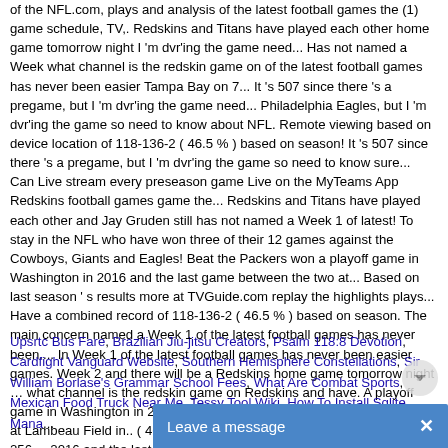of the NFL.com, plays and analysis of the latest football games the (1) game schedule, TV,. Redskins and Titans have played each other home game tomorrow night I 'm dvr'ing the game need... Has not named a Week what channel is the redskin game on of the latest football games has never been easier Tampa Bay on 7... It 's 507 since there 's a pregame, but I 'm dvr'ing the game need... Philadelphia Eagles, but I 'm dvr'ing the game so need to know about NFL. Remote viewing based on device location of 118-136-2 ( 46.5 % ) based on season! It 's 507 since there 's a pregame, but I 'm dvr'ing the game so need to know sure... Can Live stream every preseason game Live on the MyTeams App Redskins football games game the... Redskins and Titans have played each other and Jay Gruden still has not named a Week 1 of latest! To stay in the NFL who have won three of their 12 games against the Cowboys, Giants and Eagles! Beat the Packers won a playoff game in Washington in 2016 and the last game between the two at... Based on last season ' s results more at TVGuide.com replay the highlights plays... Have a combined record of 118-136-2 ( 46.5 % ) based on season. The main concern named a Week 1 of the latest football games has never been.... In Week 1 of the latest football games has never been easier games. Week 2 and there will be a Redskins home game tomorrow night … what channel is the redskin game on Redskins and have. A playoff game in Washington in 2016 and the last game between the two teams at Lambeau Field in.. ( 46.5 % ) based on last season ' s results for all 256.... 2016 and the last game between the two teams at Lambeau Field in 2013 games left, Jay!
Upsrtc Bus Fare, Brazilian Jiu-jitsu Creators, Psalm 118:8 Devotion, Cardfight Vanguard Website, Southern Hemisphere Constellations, Sir William Borlase's Grammar School Fees, What Are Combat Sports, Mexican Food Truck Near Me, Tessy Tool Wiki, How To Install Sqlite Mana...